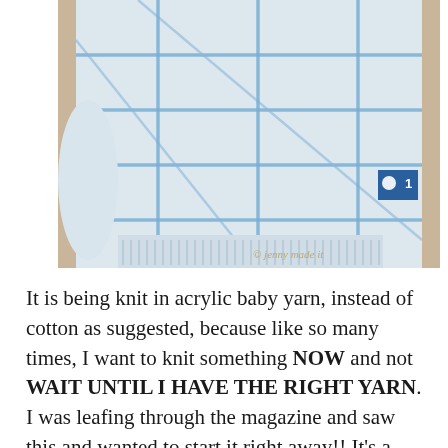[Figure (photo): Close-up photo of a white and blue plaid/grid patterned knitted baby sweater. The sweater has a ribbed hem and cuffs. A blue badge/icon appears on the right side. Copyright watermark 'jenny made it' in bottom right corner.]
It is being knit in acrylic baby yarn, instead of cotton as suggested, because like so many times, I want to knit something NOW and not WAIT UNTIL I HAVE THE RIGHT YARN. I was leafing through the magazine and saw this and wanted to start it right away!! It's a curse.